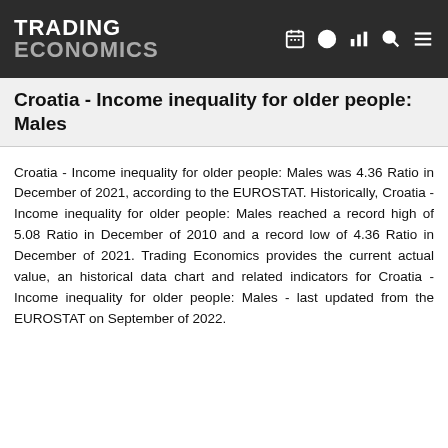TRADING ECONOMICS
Croatia - Income inequality for older people: Males
Croatia - Income inequality for older people: Males was 4.36 Ratio in December of 2021, according to the EUROSTAT. Historically, Croatia - Income inequality for older people: Males reached a record high of 5.08 Ratio in December of 2010 and a record low of 4.36 Ratio in December of 2021. Trading Economics provides the current actual value, an historical data chart and related indicators for Croatia - Income inequality for older people: Males - last updated from the EUROSTAT on September of 2022.